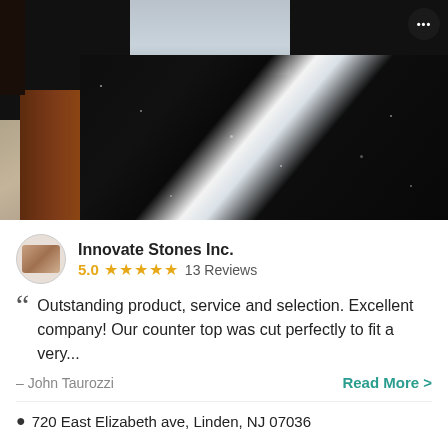[Figure (photo): Photo of a dark black granite countertop with a glossy reflective surface showing a bright window reflection, next to a reddish-brown wood cabinet, with stone tile flooring visible at left]
Innovate Stones Inc.
5.0 ★★★★★ 13 Reviews
Outstanding product, service and selection. Excellent company! Our counter top was cut perfectly to fit a very...
– John Taurozzi
Read More >
720 East Elizabeth ave, Linden, NJ 07036